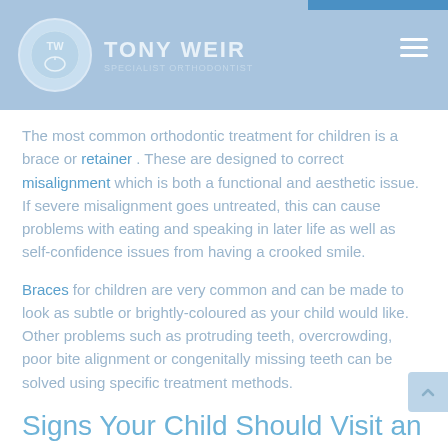TONY WEIR
The most common orthodontic treatment for children is a brace or retainer. These are designed to correct misalignment which is both a functional and aesthetic issue. If severe misalignment goes untreated, this can cause problems with eating and speaking in later life as well as self-confidence issues from having a crooked smile.
Braces for children are very common and can be made to look as subtle or brightly-coloured as your child would like. Other problems such as protruding teeth, overcrowding, poor bite alignment or congenitally missing teeth can be solved using specific treatment methods.
Signs Your Child Should Visit an Orthodontist
All children develop in their own way so it can be difficult to tell if your child's teeth are growing in properly. However, there are some common signs to look out for: